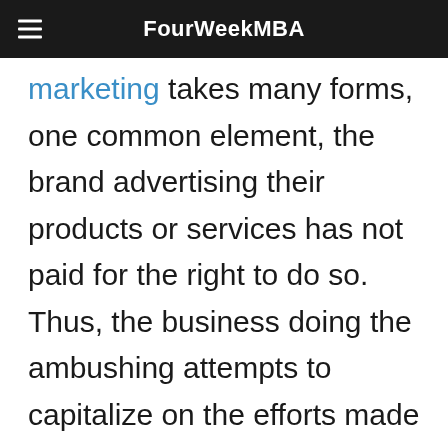FourWeekMBA
marketing takes many forms, one common element, the brand advertising their products or services has not paid for the right to do so. Thus, the business doing the ambushing attempts to capitalize on the efforts made by the business sponsoring the event.